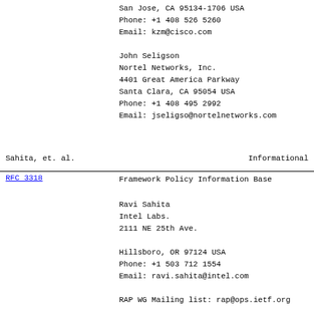San Jose, CA 95134-1706 USA
Phone: +1 408 526 5260
Email: kzm@cisco.com

John Seligson
Nortel Networks, Inc.
4401 Great America Parkway
Santa Clara, CA 95054 USA
Phone: +1 408 495 2992
Email: jseligso@nortelnetworks.com
Sahita, et. al.                    Informational
RFC 3318          Framework Policy Information Base
Ravi Sahita
Intel Labs.
2111 NE 25th Ave.

Hillsboro, OR 97124 USA
Phone: +1 503 712 1554
Email: ravi.sahita@intel.com

RAP WG Mailing list: rap@ops.ietf.org